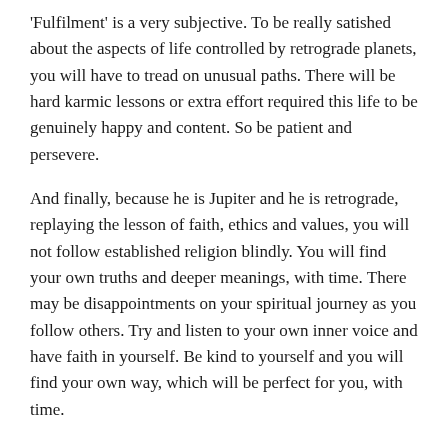'Fulfilment' is a very subjective. To be really satished about the aspects of life controlled by retrograde planets, you will have to tread on unusual paths. There will be hard karmic lessons or extra effort required this life to be genuinely happy and content. So be patient and persevere.
And finally, because he is Jupiter and he is retrograde, replaying the lesson of faith, ethics and values, you will not follow established religion blindly. You will find your own truths and deeper meanings, with time. There may be disappointments on your spiritual journey as you follow others. Try and listen to your own inner voice and have faith in yourself. Be kind to yourself and you will find your own way, which will be perfect for you, with time.